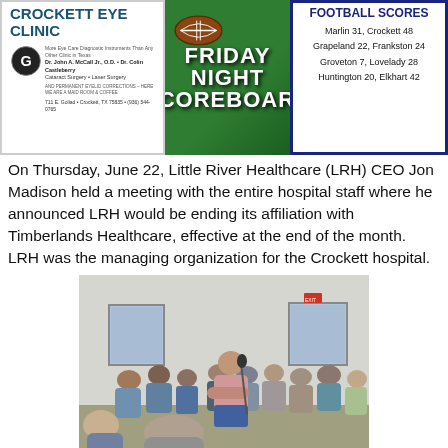[Figure (other): Crockett Eye Clinic advertisement with clinic name, logo, doctors' names (Dr. John A. McCall Jr., O.D., Dr. Colin Castleberry), Cataract Surgery, Laser Surgery, address 711 E. Goliad, Crockett, TX 75835, phone (936) 544-0765]
[Figure (other): Friday Night Scoreboard banner with football graphic on green field background]
[Figure (other): Football Scores box: Marlin 31, Crockett 48; Grapeland 22, Frankston 24; Groveton 7, Lovelady 28; Huntington 20, Elkhart 42]
On Thursday, June 22, Little River Healthcare (LRH) CEO Jon Madison held a meeting with the entire hospital staff where he announced LRH would be ending its affiliation with Timberlands Healthcare, effective at the end of the month. LRH was the managing organization for the Crockett hospital.
[Figure (photo): Photograph of a public meeting/town hall showing a crowded room of people seated, with a man standing at a microphone with arms crossed, and a woman seated facing away from the camera in the foreground.]
After dispensing with the formalities of June 27 meeting, HCHD Board President Deborah Ruth Black allowed a man to state